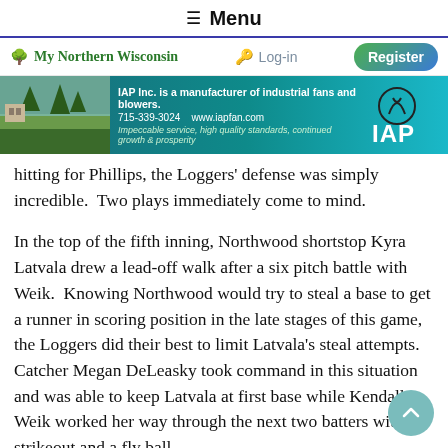≡ Menu
🌲 My Northern Wisconsin   🔑 Log-in   Register
[Figure (other): IAP Inc. advertisement banner. Text: 'IAP Inc. is a manufacturer of industrial fans and blowers. 715-339-3024 www.iapfan.com Impeccable service, high quality standards, continued growth & prosperity'. IAP logo on right side.]
hitting for Phillips, the Loggers' defense was simply incredible.  Two plays immediately come to mind.
In the top of the fifth inning, Northwood shortstop Kyra Latvala drew a lead-off walk after a six pitch battle with Weik.  Knowing Northwood would try to steal a base to get a runner in scoring position in the late stages of this game, the Loggers did their best to limit Latvala's steal attempts. Catcher Megan DeLeasky took command in this situation and was able to keep Latvala at first base while Kendall Weik worked her way through the next two batters with a strikeout and a fly ball